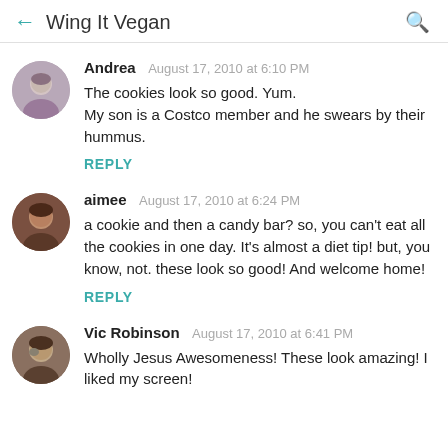Wing It Vegan
Andrea  August 17, 2010 at 6:10 PM
The cookies look so good. Yum.
My son is a Costco member and he swears by their hummus.
REPLY
aimee  August 17, 2010 at 6:24 PM
a cookie and then a candy bar? so, you can't eat all the cookies in one day. It's almost a diet tip! but, you know, not. these look so good! And welcome home!
REPLY
Vic Robinson  August 17, 2010 at 6:41 PM
Wholly Jesus Awesomeness! These look amazing! I liked my screen!